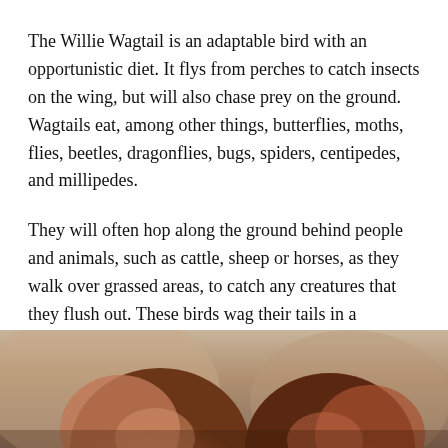The Willie Wagtail is an adaptable bird with an opportunistic diet. It flys from perches to catch insects on the wing, but will also chase prey on the ground. Wagtails eat, among other things, butterflies, moths, flies, beetles, dragonflies, bugs, spiders, centipedes, and millipedes.
They will often hop along the ground behind people and animals, such as cattle, sheep or horses, as they walk over grassed areas, to catch any creatures that they flush out. These birds wag their tails in a horizontal fashion while foraging. Why they do this is unknown but it may help to flush out hidden insects — or maybe they just like wagging their tails. For an in-depth study on the wagging tail of the wagtail, see here.
[Figure (photo): Partial photograph of what appears to be a reddish-brown fluffy bird or animal, cropped at the bottom of the page against a blurred warm-toned background.]